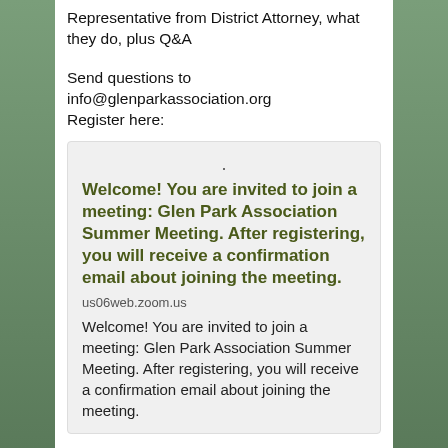Representative from District Attorney, what they do, plus Q&A
Send questions to info@glenparkassociation.org
Register here:
[Figure (screenshot): Zoom meeting registration card with bold olive-colored title: 'Welcome! You are invited to join a meeting: Glen Park Association Summer Meeting. After registering, you will receive a confirmation email about joining the meeting.' URL: us06web.zoom.us, followed by plain text repeat of the message.]
👍 1   🔁 0   💬 0     View on Facebook · Share